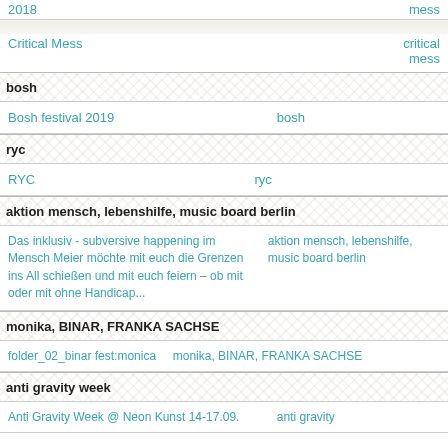|  |  |
| --- | --- |
| 2018 | mess |
| Critical Mess | critical mess |
bosh
|  |  |
| --- | --- |
| Bosh festival 2019 | bosh |
ryc
|  |  |
| --- | --- |
| RYC | ryc |
aktion mensch, lebenshilfe, music board berlin
|  |  |
| --- | --- |
| Das inklusiv - subversive happening im Mensch Meier möchte mit euch die Grenzen ins All schießen und mit euch feiern – ob mit oder mit ohne Handicap... | aktion mensch, lebenshilfe, music board berlin |
monika, BINAR, FRANKA SACHSE
|  |  |
| --- | --- |
| folder_02_binar fest:monica | monika, BINAR, FRANKA SACHSE |
anti gravity week
|  |  |
| --- | --- |
| Anti Gravity Week @ Neon Kunst 14-17.09. | anti gravity |